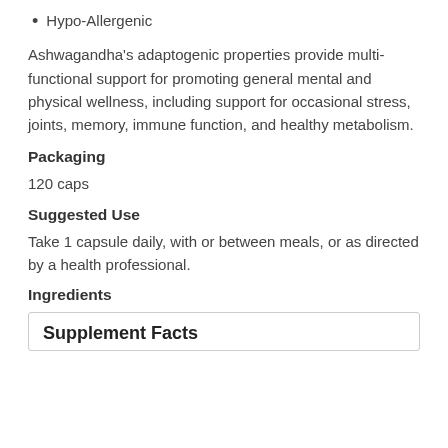Hypo-Allergenic
Ashwagandha's adaptogenic properties provide multi-functional support for promoting general mental and physical wellness, including support for occasional stress, joints, memory, immune function, and healthy metabolism.
Packaging
120 caps
Suggested Use
Take 1 capsule daily, with or between meals, or as directed by a health professional.
Ingredients
Supplement Facts